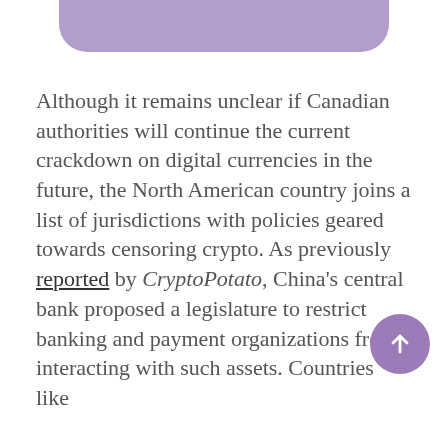[Figure (other): Purple rounded rectangle header bar/pill shape at top of page]
Although it remains unclear if Canadian authorities will continue the current crackdown on digital currencies in the future, the North American country joins a list of jurisdictions with policies geared towards censoring crypto. As previously reported by CryptoPotato, China's central bank proposed a legislature to restrict banking and payment organizations from interacting with such assets. Countries like